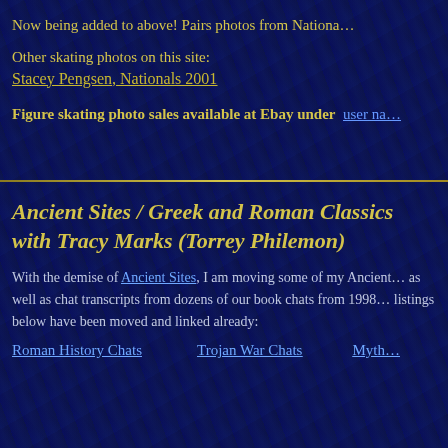Now being added to above! Pairs photos from Nationa…
Other skating photos on this site:
Stacey Pengsen, Nationals 2001
Figure skating photo sales available at Ebay under  user na…
Ancient Sites / Greek and Roman Classics with Tracy Marks (Torrey Philemon)
With the demise of Ancient Sites, I am moving some of my Ancient… as well as chat transcripts from dozens of our book chats from 1998… listings below have been moved and linked already:
Roman History Chats    Trojan War Chats    Myth…